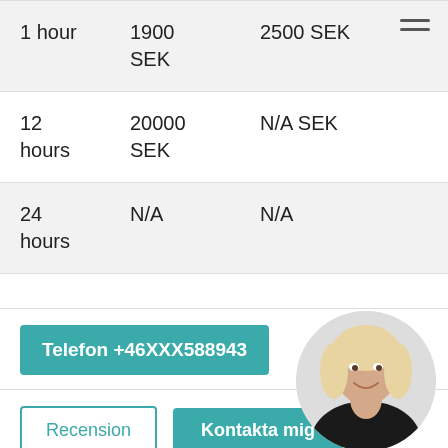| Duration | Incall | Outcall |
| --- | --- | --- |
| 1 hour | 1900 SEK | 2500 SEK |
| 12 hours | 20000 SEK | N/A SEK |
| 24 hours | N/A | N/A |
Telefon +46XXX588943
Recension
Kontakta mig
[Figure (photo): Circular profile photo of a blonde woman in black clothing, smiling]